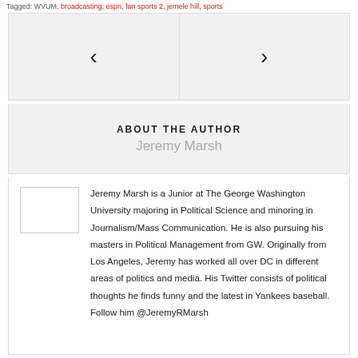Tagged: WVUM, broadcasting, espn, fan sports 2, jemele hill, sports
[Figure (other): Navigation arrows: left chevron (<) on left panel, right chevron (>) on right panel, within a light grey box]
ABOUT THE AUTHOR
Jeremy Marsh
Jeremy Marsh is a Junior at The George Washington University majoring in Political Science and minoring in Journalism/Mass Communication. He is also pursuing his masters in Political Management from GW. Originally from Los Angeles, Jeremy has worked all over DC in different areas of politics and media. His Twitter consists of political thoughts he finds funny and the latest in Yankees baseball. Follow him @JeremyRMarsh